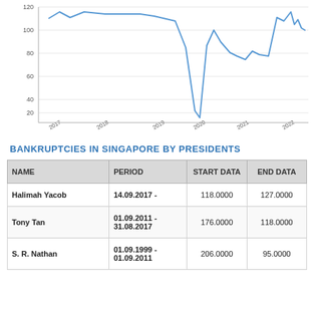[Figure (continuous-plot): Line chart showing bankruptcies in Singapore over time from 2017 to 2022, with a deep dip around 2020-2021 and recovery afterwards. Y-axis ranges from approximately 0 to 120.]
BANKRUPTCIES IN SINGAPORE BY PRESIDENTS
| NAME | PERIOD | START DATA | END DATA |
| --- | --- | --- | --- |
| Halimah Yacob | 14.09.2017 - | 118.0000 | 127.0000 |
| Tony Tan | 01.09.2011 - 31.08.2017 | 176.0000 | 118.0000 |
| S. R. Nathan | 01.09.1999 - 01.09.2011 | 206.0000 | 95.0000 |